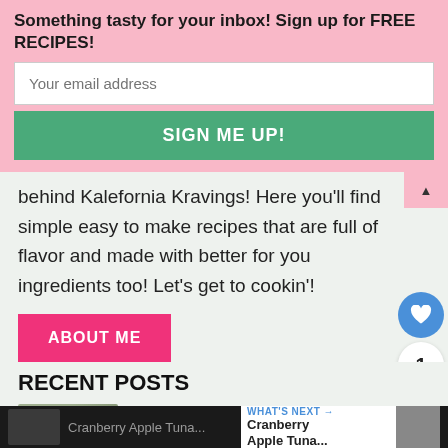Something tasty for your inbox! Sign up for FREE RECIPES!
Your email address
SIGN ME UP!
behind Kalefornia Kravings! Here you'll find simple easy to make recipes that are full of flavor and made with better for you ingredients too! Let's get to cookin'!
ABOUT ME
RECENT POSTS
Cranberry Apple Tuna Sala…
WHAT'S NEXT → Cranberry Apple Tuna…